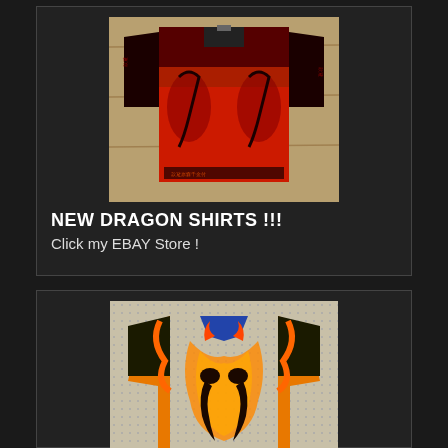[Figure (photo): Red and black short-sleeve shirt with dragon and Asian script design, displayed flat on a surface]
NEW DRAGON SHIRTS !!!
Click my EBAY Store !
[Figure (photo): Orange and black short-sleeve kids bowling shirt with flame and tribal dragon design, displayed flat]
KIDS BOWLING SHIRTS !!
All shirts are now in my ebay store! Click the link above